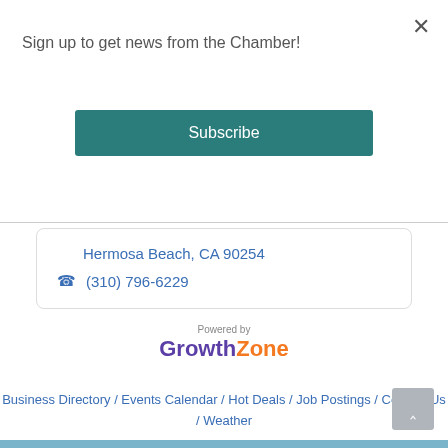Sign up to get news from the Chamber!
Subscribe
Hermosa Beach, CA 90254
(310) 796-6229
Business Directory / Events Calendar / Hot Deals / Job Postings / Contact Us / Weather
[Figure (logo): Powered by GrowthZone logo with 'Growth' in purple and 'Zone' in orange]
^